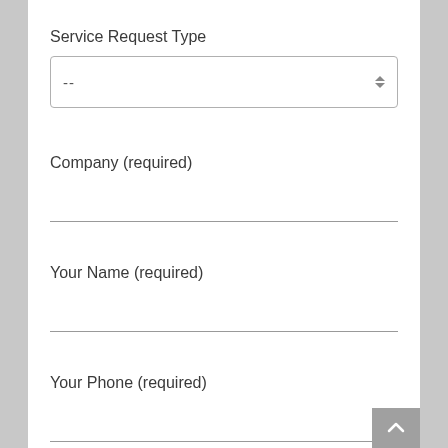Service Request Type
[Figure (screenshot): Dropdown selector field showing '--' with up/down arrow icon]
Company (required)
[Figure (screenshot): Text input field with bottom border underline for Company]
Your Name (required)
[Figure (screenshot): Text input field with bottom border underline for Your Name]
Your Phone (required)
[Figure (screenshot): Text input field with bottom border underline for Your Phone (partially visible)]